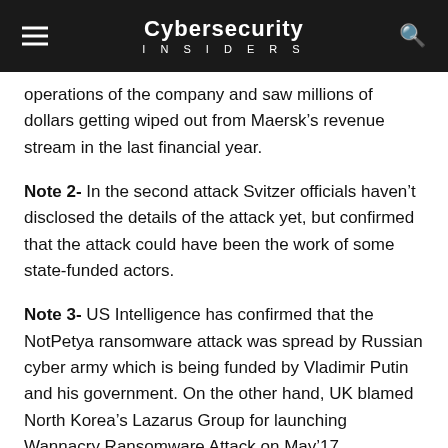Cybersecurity INSIDERS
operations of the company and saw millions of dollars getting wiped out from Maersk’s revenue stream in the last financial year.
Note 2- In the second attack Svitzer officials haven’t disclosed the details of the attack yet, but confirmed that the attack could have been the work of some state-funded actors.
Note 3- US Intelligence has confirmed that the NotPetya ransomware attack was spread by Russian cyber army which is being funded by Vladimir Putin and his government. On the other hand, UK blamed North Korea’s Lazarus Group for launching Wannacry Ransomware Attack on May’17.